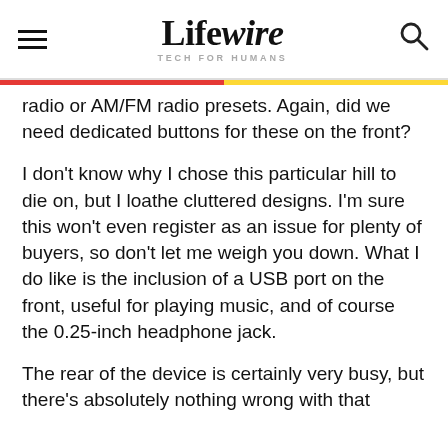Lifewire — TECH FOR HUMANS
radio or AM/FM radio presets. Again, did we need dedicated buttons for these on the front?
I don't know why I chose this particular hill to die on, but I loathe cluttered designs. I'm sure this won't even register as an issue for plenty of buyers, so don't let me weigh you down. What I do like is the inclusion of a USB port on the front, useful for playing music, and of course the 0.25-inch headphone jack.
The rear of the device is certainly very busy, but there's absolutely nothing wrong with that